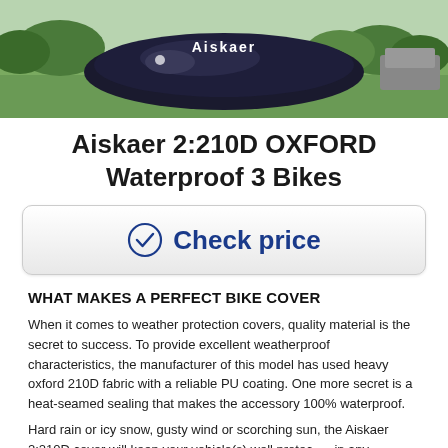[Figure (photo): Photo of Aiskaer bike cover product outdoors on grass, black cover with Aiskaer branding visible]
Aiskaer 2:210D OXFORD Waterproof 3 Bikes
[Figure (other): Check price button with blue checkmark circle icon and 'Check price' text]
WHAT MAKES A PERFECT BIKE COVER
When it comes to weather protection covers, quality material is the secret to success. To provide excellent weatherproof characteristics, the manufacturer of this model has used heavy oxford 210D fabric with a reliable PU coating. One more secret is a heat-seamed sealing that makes the accessory 100% waterproof.
Hard rain or icy snow, gusty wind or scorching sun, the Aiskaer 2:210D cover will keep your vehicle(s) well protected in any weather. It will keep them secured from dust and scratches when stored indoors in your garage or shed as well.
Not only will the accessory help secure your bike from the